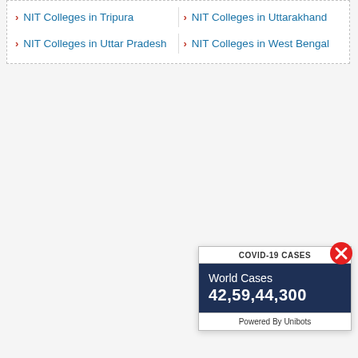NIT Colleges in Tripura
NIT Colleges in Uttarakhand
NIT Colleges in Uttar Pradesh
NIT Colleges in West Bengal
[Figure (infographic): COVID-19 Cases widget showing World Cases 42,59,44,300, Powered By Unibots, with a close button]